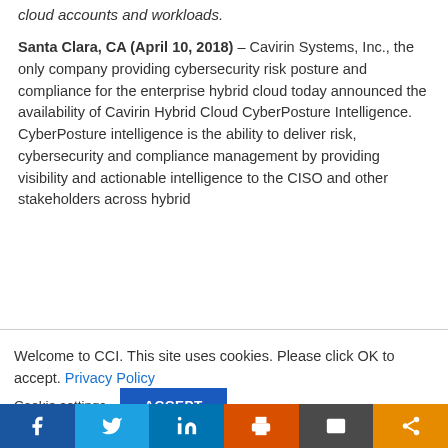cloud accounts and workloads.
Santa Clara, CA (April 10, 2018) – Cavirin Systems, Inc., the only company providing cybersecurity risk posture and compliance for the enterprise hybrid cloud today announced the availability of Cavirin Hybrid Cloud CyberPosture Intelligence. CyberPosture intelligence is the ability to deliver risk, cybersecurity and compliance management by providing visibility and actionable intelligence to the CISO and other stakeholders across hybrid
Welcome to CCI. This site uses cookies. Please click OK to accept. Privacy Policy
Cookie settings  ACCEPT
[Figure (infographic): Social share bar with icons for Facebook, Twitter, LinkedIn, Print, Email, and Share]